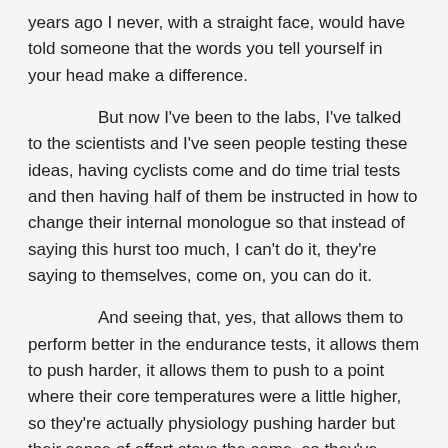years ago I never, with a straight face, would have told someone that the words you tell yourself in your head make a difference.
But now I've been to the labs, I've talked to the scientists and I've seen people testing these ideas, having cyclists come and do time trial tests and then having half of them be instructed in how to change their internal monologue so that instead of saying this hurst too much, I can't do it, they're saying to themselves, come on, you can do it.
And seeing that, yes, that allows them to perform better in the endurance tests, it allows them to push harder, it allows them to push to a point where their core temperatures were a little higher, so they're actually physiology pushing harder but their sense of effort stays the same, so they've managed to change the relationship between effort and physical output.
So, yes, to circle back to your question, I